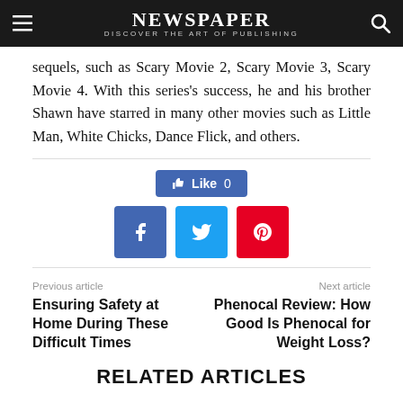NEWSPAPER — DISCOVER THE ART OF PUBLISHING
sequels, such as Scary Movie 2, Scary Movie 3, Scary Movie 4. With this series's success, he and his brother Shawn have starred in many other movies such as Little Man, White Chicks, Dance Flick, and others.
[Figure (infographic): Facebook Like button showing Like 0, and three social share buttons: Facebook (blue), Twitter (cyan), Pinterest (red)]
Previous article
Ensuring Safety at Home During These Difficult Times
Next article
Phenocal Review: How Good Is Phenocal for Weight Loss?
RELATED ARTICLES